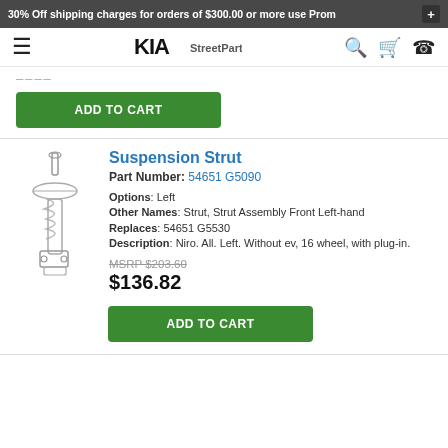30% Off shipping charges for orders of $300.00 or more use Prom
[Figure (logo): KIA brand logo with dealership name]
ADD TO CART
Suspension Strut
Part Number: 54651 G5090
Options: Left
Other Names: Strut, Strut Assembly Front Left-hand
Replaces: 54651 G5530
Description: Niro. All. Left. Without ev, 16 wheel, with plug-in.
MSRP $203.60
$136.82
ADD TO CART